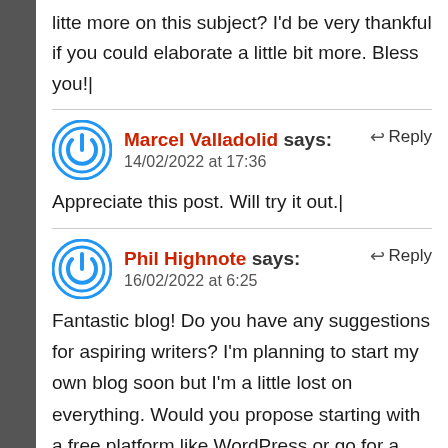litte more on this subject? I'd be very thankful if you could elaborate a little bit more. Bless you!
Marcel Valladolid says:
14/02/2022 at 17:36
Appreciate this post. Will try it out.
Phil Highnote says:
16/02/2022 at 6:25
Fantastic blog! Do you have any suggestions for aspiring writers? I'm planning to start my own blog soon but I'm a little lost on everything. Would you propose starting with a free platform like WordPress or go for a paid option? There are so many options out there that I'm totally confused. Any tips? Thank the